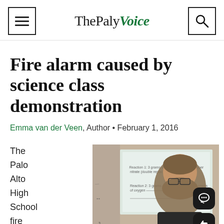ThePaly Voice
Fire alarm caused by science class demonstration
Emma van der Veen, Author • February 1, 2016
The Palo Alto High School fire alarm went
[Figure (photo): A teacher standing in front of a whiteboard/projector screen showing chemistry reactions, wearing glasses and a dark top]